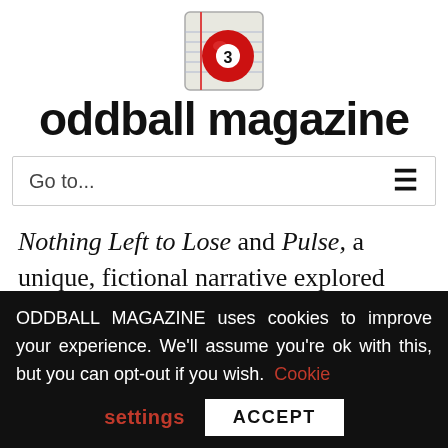[Figure (logo): Oddball Magazine logo with red billiard ball number 3 icon and bold text 'oddball magazine']
Go to...
Nothing Left to Lose and Pulse, a unique, fictional narrative explored through the art of poetry. The poems presented here will be made available in her upcoming
ODDBALL MAGAZINE uses cookies to improve your experience. We'll assume you're ok with this, but you can opt-out if you wish. Cookie settings ACCEPT